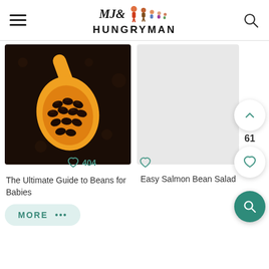MJ& HUNGRYMAN
[Figure (photo): Photo of black/dark beans on an orange spoon against a dark background]
404
The Ultimate Guide to Beans for Babies
[Figure (photo): Empty/placeholder area for Easy Salmon Bean Salad image]
Easy Salmon Bean Salad
MORE •••
61